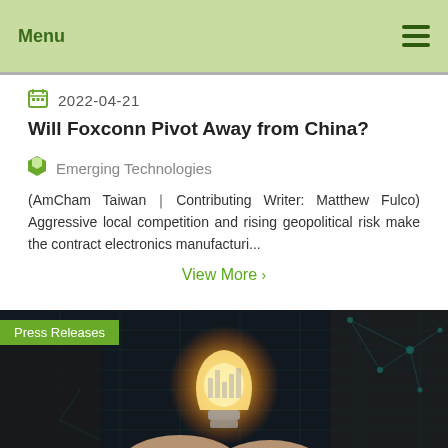Menu
2022-04-21
Will Foxconn Pivot Away from China?
Emerging Technologies
(AmCham Taiwan｜Contributing Writer: Matthew Fulco) Aggressive local competition and rising geopolitical risk make the contract electronics manufacturi...
View More ›
[Figure (photo): Press Releases section with a photo of a glowing light bulb held by hands, with digital network graphic overlay on dark background]